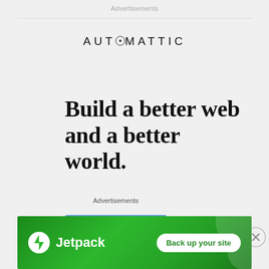Advertisements
[Figure (logo): Automattic logo in uppercase spaced letters with a circle-O symbol]
Build a better web and a better world.
Apply
Advertisements
[Figure (infographic): Jetpack advertisement banner with green background, Jetpack logo, and 'Back up your site' button]